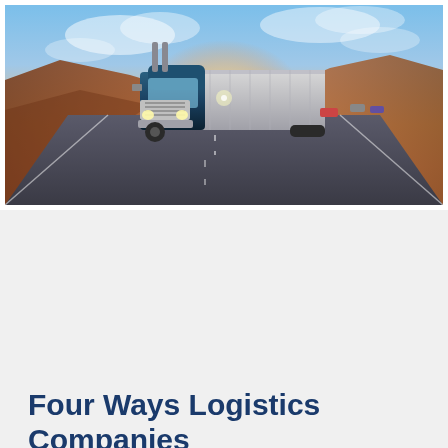[Figure (photo): A large semi-truck (18-wheeler) driving on a multi-lane highway toward the camera, with desert hills in the background and a dramatic sunset sky with orange, pink, and blue hues. Other vehicles are visible in the distance.]
Four Ways Logistics Companies